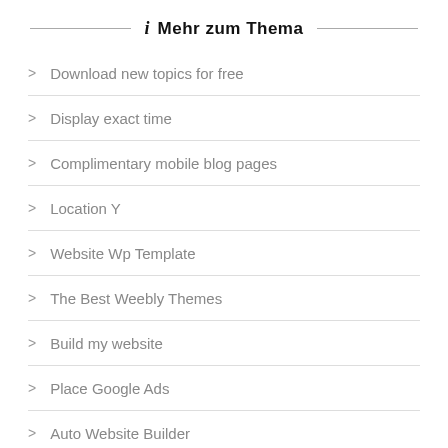Mehr zum Thema
Download new topics for free
Display exact time
Complimentary mobile blog pages
Location Y
Website Wp Template
The Best Weebly Themes
Build my website
Place Google Ads
Auto Website Builder
Topics for Google Web Store
Pipeline Product Template
aki Photaki
Worldpress Market Plugin